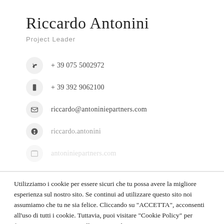Riccardo Antonini
Project Leader
+ 39 075 5002972
+ 39 392 9062100
riccardo@antoniniepartners.com
riccardo.antonini
antoniniepartners.com
Utilizziamo i cookie per essere sicuri che tu possa avere la migliore esperienza sul nostro sito. Se continui ad utilizzare questo sito noi assumiamo che tu ne sia felice. Cliccando su "ACCETTA", acconsenti all'uso di tutti i cookie. Tuttavia, puoi visitare "Cookie Policy" per fornire un consenso controllato. Leggi di piu'
Cookie Policy | NEGA TUTTO | ACCETTA TUTTI